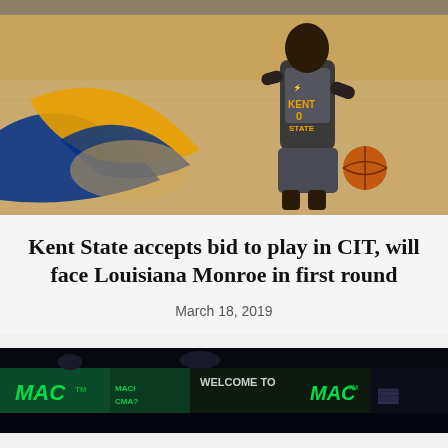[Figure (photo): Kent State basketball player wearing jersey number 0 dribbling ball on court with Kent State logo visible on hardwood floor]
Kent State accepts bid to play in CIT, will face Louisiana Monroe in first round
March 18, 2019
[Figure (photo): Arena scoreboard showing 'WELCOME TO MAC' text in green/teal LED display with MAC tournament branding]